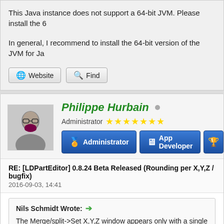This Java instance does not support a 64-bit JVM. Please install the 6
In general, I recommend to install the 64-bit version of the JVM for Ja
Website | Find
Philippe Hurbain
Administrator ★★★★★★★
Administrator | App Developer
RE: [LDPartEditor] 0.8.24 Beta Released (Rounding per X,Y,Z / bugfix)
2016-09-03, 14:41
Nils Schmidt Wrote: → The Merge/split->Set X,Y,Z window appears only with a single ve a plane).
Thanks 😊